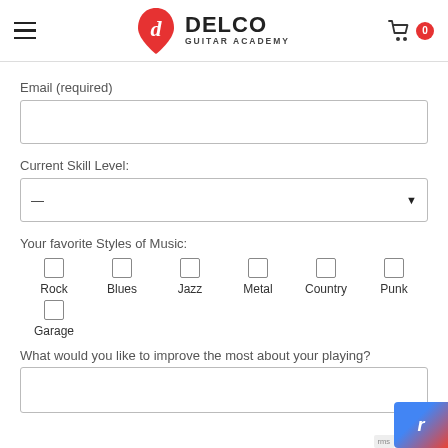Delco Guitar Academy
Email (required)
Current Skill Level:
Your favorite Styles of Music:
Rock
Blues
Jazz
Metal
Country
Punk
Garage
What would you like to improve the most about your playing?